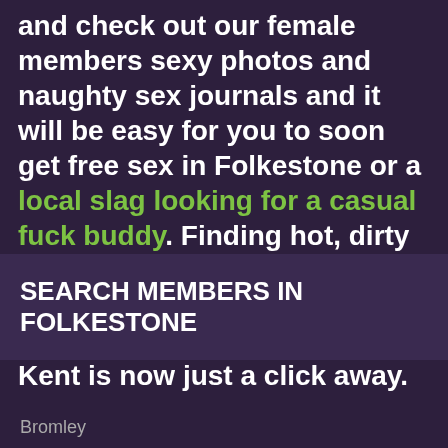and check out our female members sexy photos and naughty sex journals and it will be easy for you to soon get free sex in Folkestone or a local slag looking for a casual fuck buddy. Finding hot, dirty women for a one night stand, extra marital affair or perhaps a local swinging couple in Kent is now just a click away.
SEARCH MEMBERS IN FOLKESTONE
Bromley